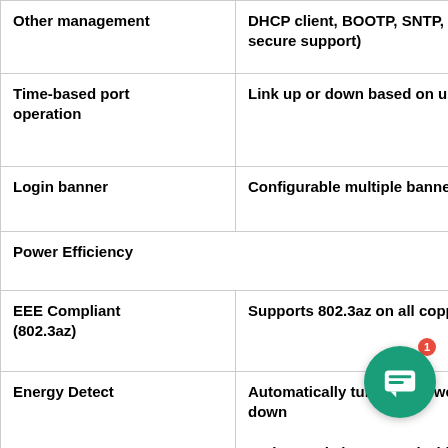| Feature | Description |
| --- | --- |
| Other management | DHCP client, BOOTP, SNTP, Xmodem, secure support) |
| Time-based port operation | Link up or down based on user-defin… |
| Login banner | Configurable multiple banners for w… |
| Power Efficiency |  |
| EEE Compliant (802.3az) | Supports 802.3az on all copper ports |
| Energy Detect | Automatically turns off power off on down
Active mode is resumed without loss |
| Cable length detection | Adjusts the signal strength based on power consumption for cables short… |
| Disable port LEDs | LEDs can be manually turned off to s… |
| General |  |
| Jumbo frames | Frame sizes up to 9K (9216) bytes su… |